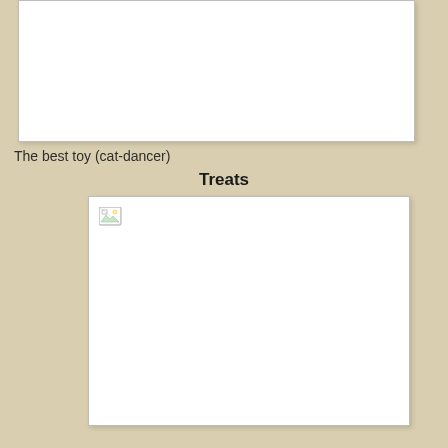[Figure (photo): Empty white image box (top), content not loaded]
The best toy (cat-dancer)
Treats
[Figure (photo): Empty white image box (bottom) with broken image icon, content not loaded]